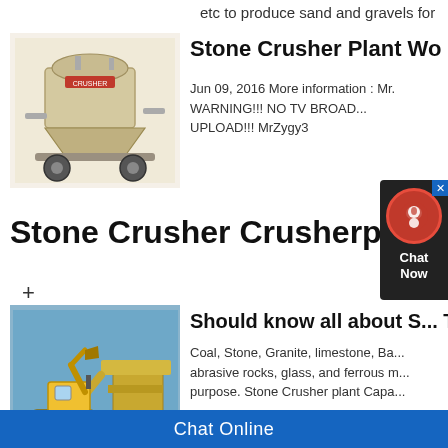etc to produce sand and gravels for
[Figure (photo): Industrial stone crusher machine on wheels, beige/cream color with red branding label]
Stone Crusher Plant Wo
Jun 09, 2016 More information : Mr. WARNING!!! NO TV BROAD... UPLOAD!!! MrZygy3
Stone Crusher Crusherplant
+
[Figure (photo): Yellow excavator and stone crusher plant machinery on a gravel site with blue sky]
Should know all about S... Thug
Coal, Stone, Granite, limestone, Ba... abrasive rocks, glass, and ferrous m... purpose. Stone Crusher plant Capa...
Chat Online